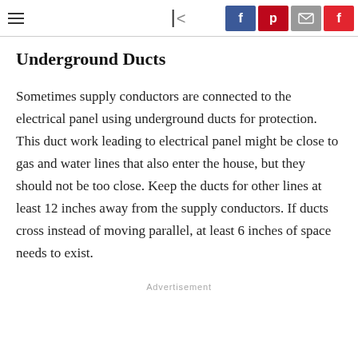≡  |  <  f  p  ✉  F
Underground Ducts
Sometimes supply conductors are connected to the electrical panel using underground ducts for protection. This duct work leading to electrical panel might be close to gas and water lines that also enter the house, but they should not be too close. Keep the ducts for other lines at least 12 inches away from the supply conductors. If ducts cross instead of moving parallel, at least 6 inches of space needs to exist.
Advertisement